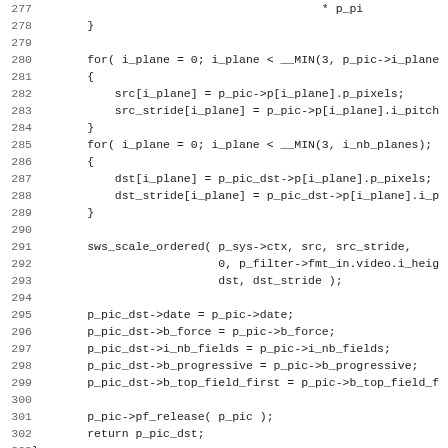Source code listing lines 277-308, C programming language code showing video scaling functions with for loops, sws_scale_ordered call, field assignments, and #else preprocessor directive.